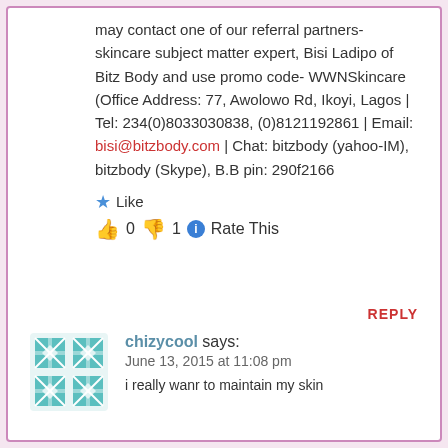may contact one of our referral partners- skincare subject matter expert, Bisi Ladipo of Bitz Body and use promo code- WWNSkincare (Office Address: 77, Awolowo Rd, Ikoyi, Lagos | Tel: 234(0)8033030838, (0)8121192861 | Email: bisi@bitzbody.com | Chat: bitzbody (yahoo-IM), bitzbody (Skype), B.B pin: 290f2166
★ Like
👍 0 👎 1 ℹ Rate This
REPLY
chizycool says:
June 13, 2015 at 11:08 pm
i really wanr to maintain my skin